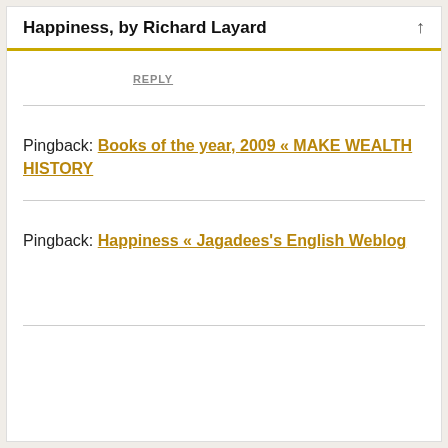Happiness, by Richard Layard
REPLY
Pingback: Books of the year, 2009 « MAKE WEALTH HISTORY
Pingback: Happiness « Jagadees's English Weblog